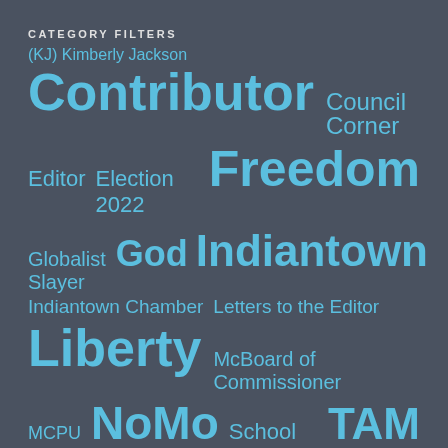CATEGORY FILTERS
(KJ) Kimberly Jackson
Contributor
Council Corner
Editor
Election 2022
Freedom
Globalist Slayer
God
Indiantown
Indiantown Chamber
Letters to the Editor
Liberty
McBoard of Commissioner
MCPU
NoMo
School Board
TAM
Alert
The KC Ingram Show
Tony Z